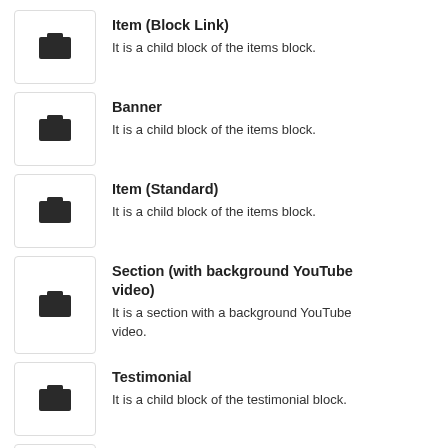Item (Block Link)
It is a child block of the items block.
Banner
It is a child block of the items block.
Item (Standard)
It is a child block of the items block.
Section (with background YouTube video)
It is a section with a background YouTube video.
Testimonial
It is a child block of the testimonial block.
Menu